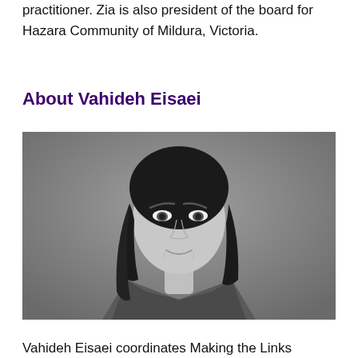practitioner. Zia is also president of the board for Hazara Community of Mildura, Victoria.
About Vahideh Eisaei
[Figure (photo): Black and white professional headshot portrait of Vahideh Eisaei, a woman with long dark hair wearing a blazer, against a grey background.]
Vahideh Eisaei coordinates Making the Links